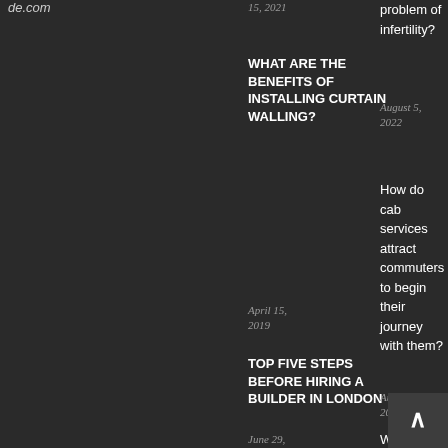de.com
15, 2021
DENTAL CLINIC (1)
problem of infertility?
WHAT ARE THE BENEFITS OF INSTALLING CURTAIN WALLING?
DIGITAL MARKETING (11)
August 5, 2022
April 15, 2019
EDUCATION (5)
How do cab services attract commuters to begin their journey with them?
TOP FIVE STEPS BEFORE HIRING A BUILDER IN LONDON
ENTERTAINMENT (2)
EXTERIOR (3)
August 1, 2022
June 29, 2020
EYE CARE (3)
Why is
FACTS (3)
FASHION & BEAUTY (10)
FASTENERS